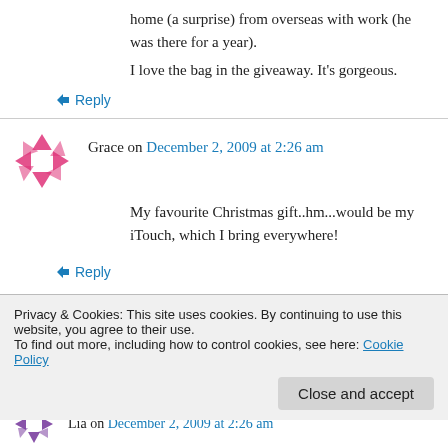home (a surprise) from overseas with work (he was there for a year).
I love the bag in the giveaway. It's gorgeous.
↳ Reply
Grace on December 2, 2009 at 2:26 am
My favourite Christmas gift..hm...would be my iTouch, which I bring everywhere!
↳ Reply
Privacy & Cookies: This site uses cookies. By continuing to use this website, you agree to their use.
To find out more, including how to control cookies, see here: Cookie Policy
Close and accept
Lia on December 2, 2009 at 2:26 am